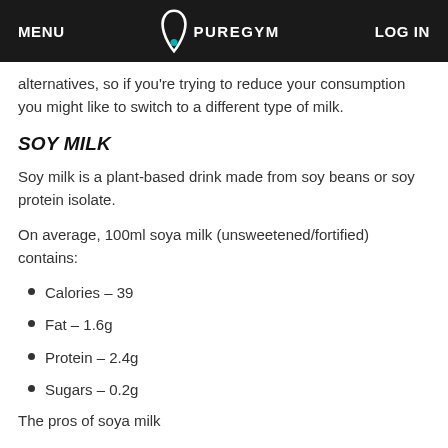MENU   PUREGYM   LOG IN
alternatives, so if you're trying to reduce your consumption you might like to switch to a different type of milk.
SOY MILK
Soy milk is a plant-based drink made from soy beans or soy protein isolate.
On average, 100ml soya milk (unsweetened/fortified) contains:
Calories – 39
Fat – 1.6g
Protein – 2.4g
Sugars – 0.2g
The pros of soya milk